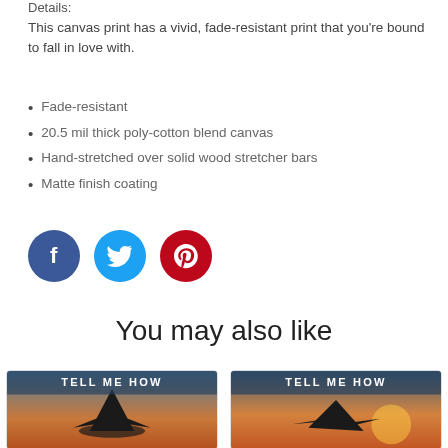Details:
This canvas print has a vivid, fade-resistant print that you're bound to fall in love with.
Fade-resistant
20.5 mil thick poly-cotton blend canvas
Hand-stretched over solid wood stretcher bars
Matte finish coating
[Figure (infographic): Social media share buttons: Facebook (dark blue circle with 'f'), Twitter (light blue circle with bird icon), Pinterest (red circle with 'p' pin icon)]
You may also like
[Figure (photo): Two product card images showing 'Tell Me How' canvas prints with fighter jet silhouettes against sunset skies]